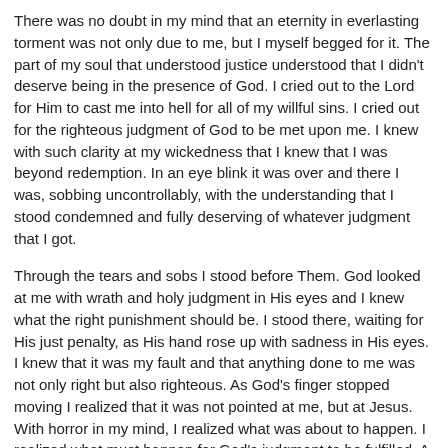There was no doubt in my mind that an eternity in everlasting torment was not only due to me, but I myself begged for it. The part of my soul that understood justice understood that I didn't deserve being in the presence of God. I cried out to the Lord for Him to cast me into hell for all of my willful sins. I cried out for the righteous judgment of God to be met upon me. I knew with such clarity at my wickedness that I knew that I was beyond redemption. In an eye blink it was over and there I was, sobbing uncontrollably, with the understanding that I stood condemned and fully deserving of whatever judgment that I got.
Through the tears and sobs I stood before Them. God looked at me with wrath and holy judgment in His eyes and I knew what the right punishment should be. I stood there, waiting for His just penalty, as His hand rose up with sadness in His eyes. I knew that it was my fault and that anything done to me was not only right but also righteous. As God’s finger stopped moving I realized that it was not pointed at me, but at Jesus. With horror in my mind, I realized what was about to happen. I realized what must happen for God’s judgment to be fulfilled. A scream of pure terror erupted from my mouth, “NO!”
In that instant I was thrust onto a lonely hillside in the desert. I looked at Jesus, who had just been nailed to a cross. I saw the jagged tears in His body from the scourging and the blood running down into His eyes from the crown of thorns. I saw the anguish as the day’s torment and the weight of what He had to do was etched on His face. Then our eyes met.